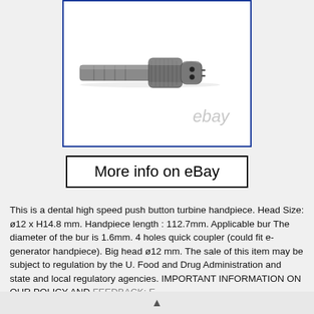[Figure (photo): A dental high speed push button turbine handpiece connector/coupling piece made of metal, shown against a white background inside a blue-bordered frame. An 'ebay' watermark is visible. The component has a cylindrical body with threaded sections and two small holes at one end.]
More info on eBay
This is a dental high speed push button turbine handpiece. Head Size: ø12 x H14.8 mm. Handpiece length : 112.7mm. Applicable bur The diameter of the bur is 1.6mm. 4 holes quick coupler (could fit e-generator handpiece). Big head ø12 mm. The sale of this item may be subject to regulation by the U. Food and Drug Administration and state and local regulatory agencies. IMPORTANT INFORMATION ON OUR POLICY AND FEEDBACK: Excellent...
▲